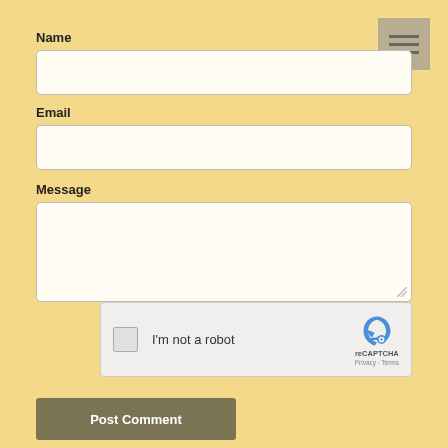[Figure (screenshot): Menu icon with three horizontal lines in a beige/tan box, top-right corner]
Name
[Figure (screenshot): Text input field for Name, light cream background with border]
Email
[Figure (screenshot): Text input field for Email, light cream background with border]
Message
[Figure (screenshot): Textarea input field for Message, light cream background with border]
[Figure (screenshot): reCAPTCHA widget: checkbox, 'I'm not a robot' text, reCAPTCHA logo, Privacy · Terms]
Post Comment